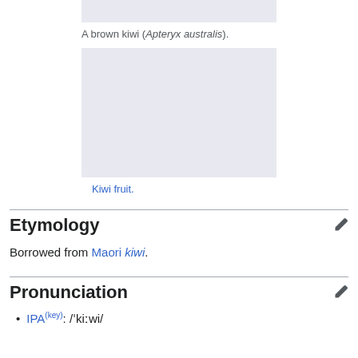[Figure (photo): Partial top image placeholder (cropped brown kiwi bird image)]
A brown kiwi (Apteryx australis).
[Figure (photo): Image placeholder for kiwi fruit photo]
Kiwi fruit.
Etymology
Borrowed from Maori kiwi.
Pronunciation
IPA(key): /ˈkiːwi/